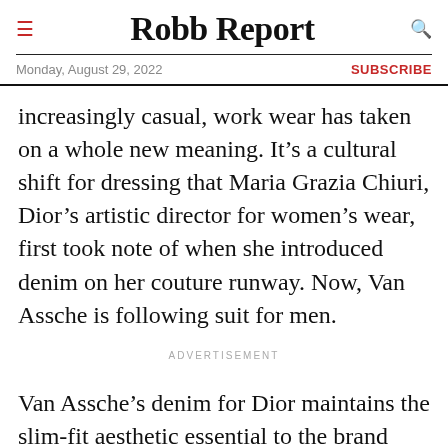Robb Report
Monday, August 29, 2022
SUBSCRIBE
increasingly casual, work wear has taken on a whole new meaning. It’s a cultural shift for dressing that Maria Grazia Chiuri, Dior’s artistic director for women’s wear, first took note of when she introduced denim on her couture runway. Now, Van Assche is following suit for men.
ADVERTISEMENT
Van Assche’s denim for Dior maintains the slim-fit aesthetic essential to the brand while